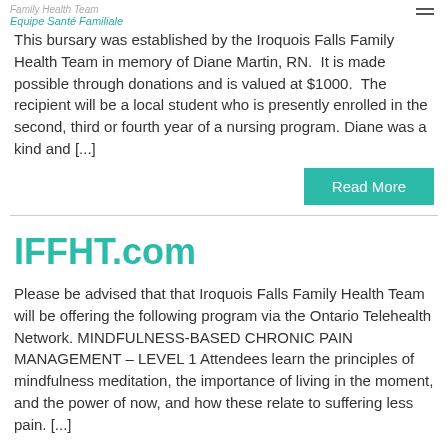Family Health Team / Equipe Santé Familiale
This bursary was established by the Iroquois Falls Family Health Team in memory of Diane Martin, RN. It is made possible through donations and is valued at $1000. The recipient will be a local student who is presently enrolled in the second, third or fourth year of a nursing program. Diane was a kind and [...]
Read More
IFFHT.com
Please be advised that that Iroquois Falls Family Health Team will be offering the following program via the Ontario Telehealth Network. MINDFULNESS-BASED CHRONIC PAIN MANAGEMENT – LEVEL 1 Attendees learn the principles of mindfulness meditation, the importance of living in the moment, and the power of now, and how these relate to suffering less pain. [...]